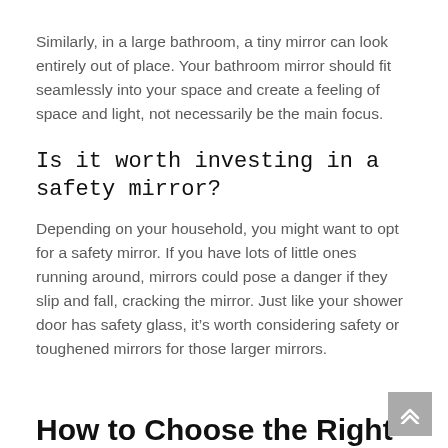Similarly, in a large bathroom, a tiny mirror can look entirely out of place. Your bathroom mirror should fit seamlessly into your space and create a feeling of space and light, not necessarily be the main focus.
Is it worth investing in a safety mirror?
Depending on your household, you might want to opt for a safety mirror. If you have lots of little ones running around, mirrors could pose a danger if they slip and fall, cracking the mirror. Just like your shower door has safety glass, it's worth considering safety or toughened mirrors for those larger mirrors.
How to Choose the Right